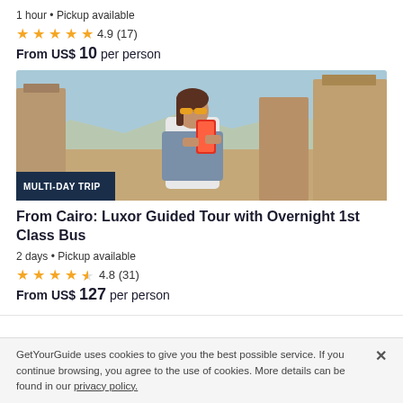1 hour • Pickup available
★★★★★ 4.9 (17)
From US$ 10 per person
[Figure (photo): Woman holding a phone and smiling among ancient stone ruins, with mountains in background. Badge reads MULTI-DAY TRIP.]
From Cairo: Luxor Guided Tour with Overnight 1st Class Bus
2 days • Pickup available
★★★★½ 4.8 (31)
From US$ 127 per person
GetYourGuide uses cookies to give you the best possible service. If you continue browsing, you agree to the use of cookies. More details can be found in our privacy policy.